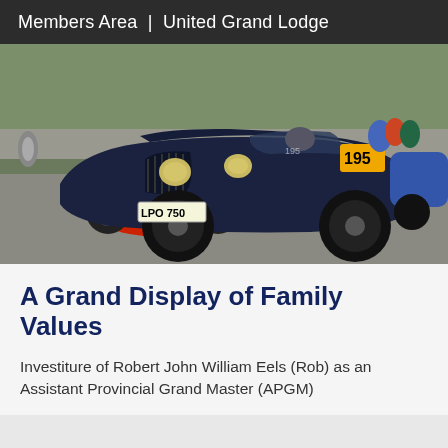Members Area | United Grand Lodge
[Figure (photo): Vintage racing cars at a motorsport event. A dark navy blue open-top classic sports car with registration plate LPO 750 and race number 195 is prominently in the foreground. A red classic sports car with number 98 is visible to the left. Other cars and spectators are visible in the background at what appears to be a race circuit paddock area.]
A Grand Display of Family Values
Investiture of Robert John William Eels (Rob) as an Assistant Provincial Grand Master (APGM)